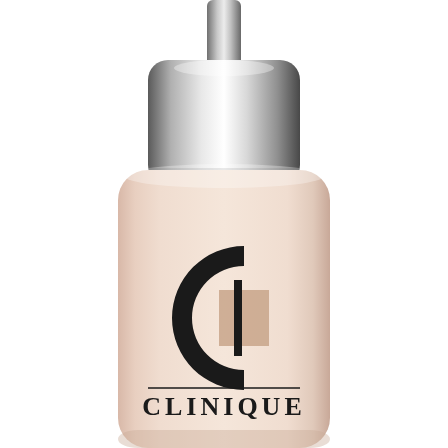[Figure (photo): A Clinique foundation bottle with a silver metallic pump cap and a pale pink/beige bottle body featuring the large black Clinique 'C' logo and the brand name 'CLINIQUE' printed at the bottom, on a white background.]